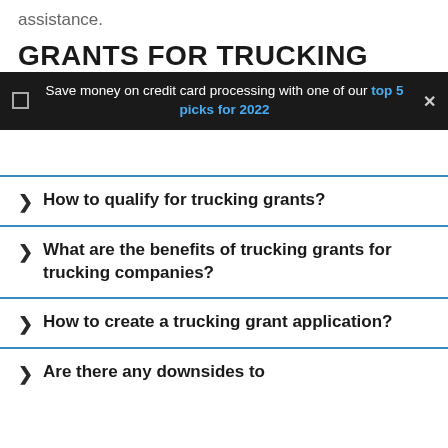assistance.
GRANTS FOR TRUCKING
[Figure (screenshot): Dark notification bar overlay with checkbox icon, text 'Save money on credit card processing with one of our top 5 picks for 2022', and a close (x) button.]
How to qualify for trucking grants?
What are the benefits of trucking grants for trucking companies?
How to create a trucking grant application?
Are there any downsides to